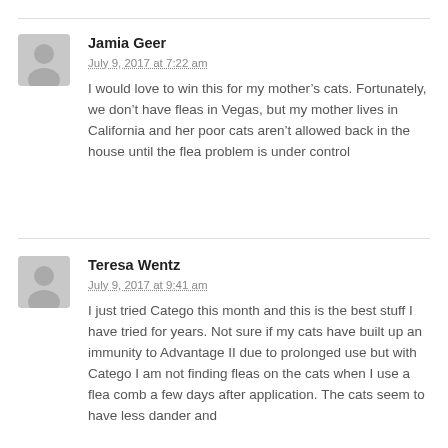Jamia Geer
July 9, 2017 at 7:22 am
I would love to win this for my mother’s cats. Fortunately, we don’t have fleas in Vegas, but my mother lives in California and her poor cats aren’t allowed back in the house until the flea problem is under control
Teresa Wentz
July 9, 2017 at 9:41 am
I just tried Catego this month and this is the best stuff I have tried for years. Not sure if my cats have built up an immunity to Advantage II due to prolonged use but with Catego I am not finding fleas on the cats when I use a flea comb a few days after application. The cats seem to have less dander and